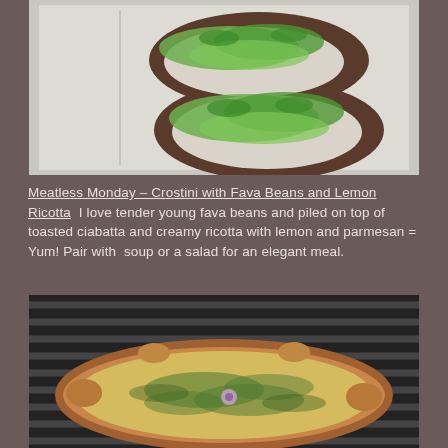[Figure (photo): Two crostini topped with white ricotta and bright green fava beans on a white plate]
Meatless Monday – Crostini with Fava Beans and Lemon Ricotta  I love tender young fava beans and piled on top of toasted ciabatta and creamy ricotta with lemon and parmesan = Yum! Pair with  soup or a salad for an elegant meal.
[Figure (photo): A round quiche or frittata with green herbs and small purple flowers on a grill grate]